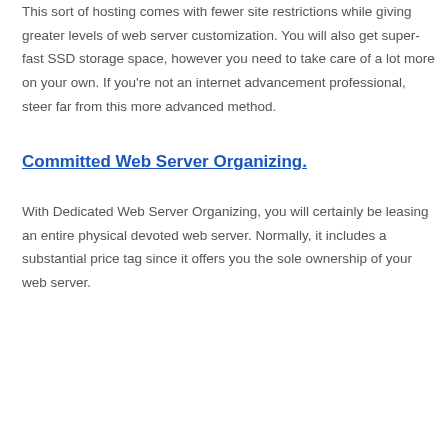This sort of hosting comes with fewer site restrictions while giving greater levels of web server customization. You will also get super-fast SSD storage space, however you need to take care of a lot more on your own. If you're not an internet advancement professional, steer far from this more advanced method.
Committed Web Server Organizing.
With Dedicated Web Server Organizing, you will certainly be leasing an entire physical devoted web server. Normally, it includes a substantial price tag since it offers you the sole ownership of your web server.